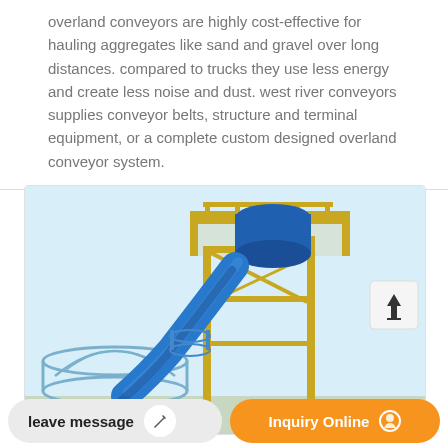overland conveyors are highly cost-effective for hauling aggregates like sand and gravel over long distances. compared to trucks they use less energy and create less noise and dust. west river conveyors supplies conveyor belts, structure and terminal equipment, or a complete custom designed overland conveyor system.
[Figure (photo): Industrial conveyor system with blue metal tube/chute and yellow steel frame structure with safety railings and platform, photographed against a light blue sky.]